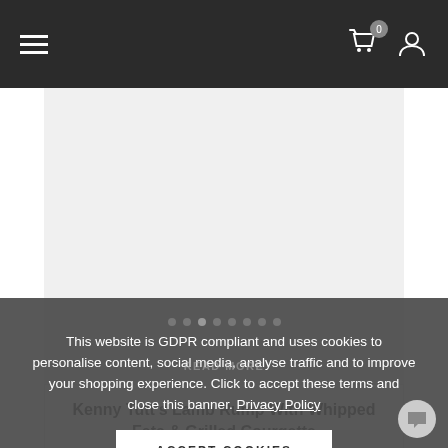Navigation bar with hamburger menu, cart icon (0), and user icon
[Figure (photo): Light grey image placeholder area for recipe photo]
Kenny Tutt's Lamb Rump With Whipped Feta & Grilled Courgette
This lamb rump recipe by Kenny Tutt is all about
READ MORE
This website is GDPR compliant and uses cookies to personalise content, social media, analyse traffic and to improve your shopping experience. Click to accept these terms and close this banner. Privacy Policy
ACCEPT COOKIES